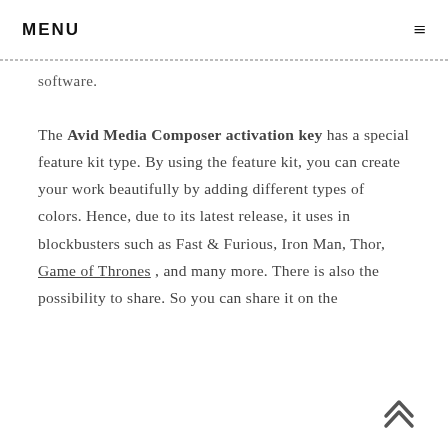MENU ≡
software.
The Avid Media Composer activation key has a special feature kit type. By using the feature kit, you can create your work beautifully by adding different types of colors. Hence, due to its latest release, it uses in blockbusters such as Fast & Furious, Iron Man, Thor, Game of Thrones , and many more. There is also the possibility to share. So you can share it on the